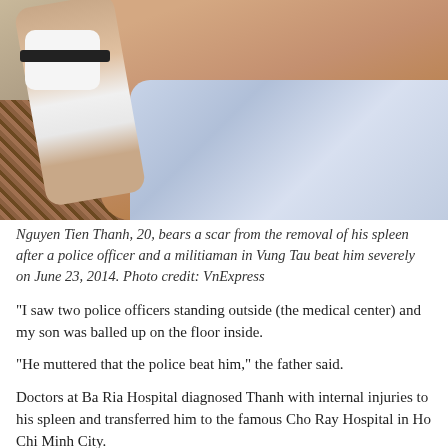[Figure (photo): Photo of Nguyen Tien Thanh, a young man lying down showing his bare torso with a scar, his arm wrapped in a white bandage with a black band. He is wearing a blue-white checkered shirt. The background shows a patterned carpet/floor on the left side.]
Nguyen Tien Thanh, 20, bears a scar from the removal of his spleen after a police officer and a militiaman in Vung Tau beat him severely on June 23, 2014. Photo credit: VnExpress
“I saw two police officers standing outside (the medical center) and my son was balled up on the floor inside.
“He muttered that the police beat him,” the father said.
Doctors at Ba Ria Hospital diagnosed Thanh with internal injuries to his spleen and transferred him to the famous Cho Ray Hospital in Ho Chi Minh City.
After a month-long treatment, doctors removed his spleen.